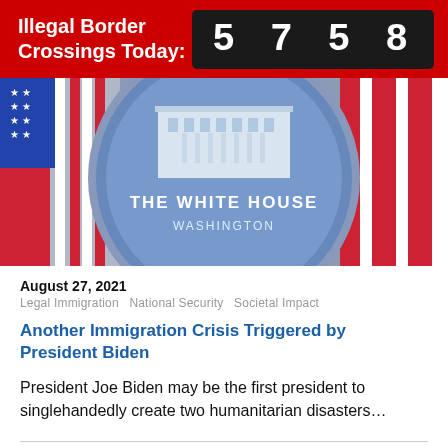Illegal Border Crossings Today: 5758
[Figure (photo): White House seal/podium logo with American flags in background]
August 27, 2021
Legal Immigration   National Security   Societal Impact
Another Immigration Crisis Triggered by President Biden
President Joe Biden may be the first president to singlehandedly create two humanitarian disasters...
1  2  3  4  »  ▶